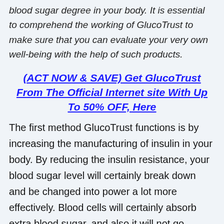blood sugar degree in your body. It is essential to comprehend the working of GlucoTrust to make sure that you can evaluate your very own well-being with the help of such products.
(ACT NOW & SAVE) Get GlucoTrust From The Official Internet site With Up To 50% OFF, Here
The first method GlucoTrust functions is by increasing the manufacturing of insulin in your body. By reducing the insulin resistance, your blood sugar level will certainly break down and be changed into power a lot more effectively. Blood cells will certainly absorb extra blood sugar, and also it will not go directly into your bloodstream. Likewise, the 2nd way the GlucoTrust active ingredients job is by stopping the failure of